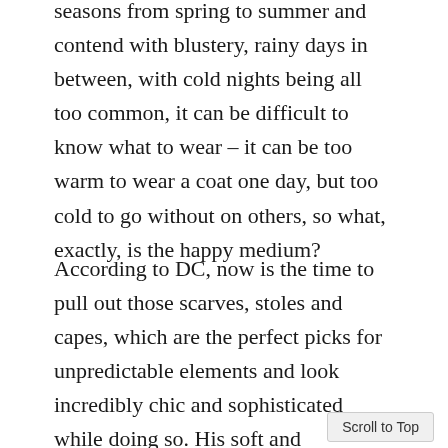seasons from spring to summer and contend with blustery, rainy days in between, with cold nights being all too common, it can be difficult to know what to wear – it can be too warm to wear a coat one day, but too cold to go without on others, so what, exactly, is the happy medium?
According to DC, now is the time to pull out those scarves, stoles and capes, which are the perfect picks for unpredictable elements and look incredibly chic and sophisticated while doing so. His soft and sumptuous 100 percent cashmere and lambswool designs – available through Edinburgh Cashmere and Edinburgh Lambswool respectively – offer optimal warmth and comfort, and feature DC's distinctive check, monogram and jacquard prints, with simpler, block-colour options f        o like to keep things minimal, distinctive
Scroll to Top